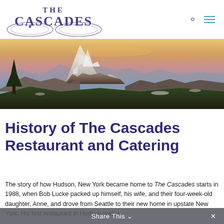THE CASCADES (logo with navigation icons)
[Figure (photo): Wide panoramic photo of a snow-capped Cascade mountain peak at sunset/dusk with dramatic orange and purple sky, forested ridges, and rocky terrain in the foreground.]
History of The Cascades Restaurant and Catering
The story of how Hudson, New York became home to The Cascades starts in 1988, when Bob Lucke packed up himself, his wife, and their four-week-old daughter, Anne, and drove from Seattle to their new home in upstate New York. His first restaurant in Hudson was a